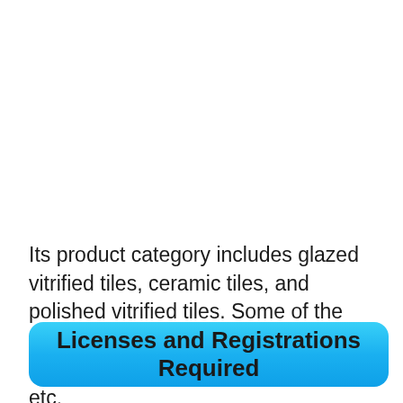Its product category includes glazed vitrified tiles, ceramic tiles, and polished vitrified tiles. Some of the famous products are the Ultima, Gres tough, Vitrinite, E-shield, Stonecraft, etc.
Licenses and Registrations Required